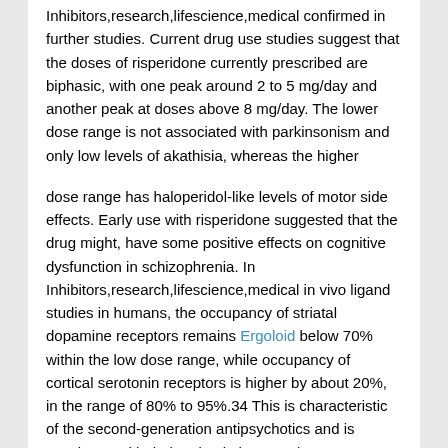Inhibitors,research,lifescience,medical confirmed in further studies. Current drug use studies suggest that the doses of risperidone currently prescribed are biphasic, with one peak around 2 to 5 mg/day and another peak at doses above 8 mg/day. The lower dose range is not associated with parkinsonism and only low levels of akathisia, whereas the higher
dose range has haloperidol-like levels of motor side effects. Early use with risperidone suggested that the drug might, have some positive effects on cognitive dysfunction in schizophrenia. In Inhibitors,research,lifescience,medical in vivo ligand studies in humans, the occupancy of striatal dopamine receptors remains Ergoloid below 70% within the low dose range, while occupancy of cortical serotonin receptors is higher by about 20%, in the range of 80% to 95%.34 This is characteristic of the second-generation antipsychotics and is consistent with their animal pharmacology. Risperidone was one of the first second-generation antipsychotics with low motor side effects, especially at low dose levels, to also have a good side-